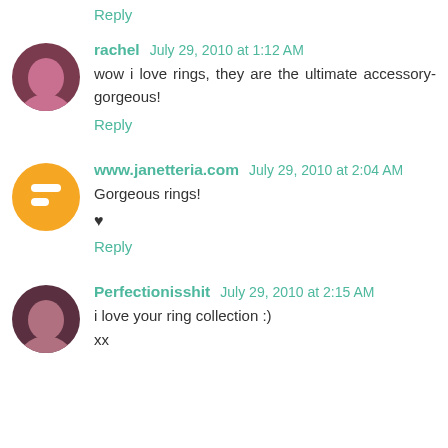Reply
rachel  July 29, 2010 at 1:12 AM
wow i love rings, they are the ultimate accessory-gorgeous!
Reply
www.janetteria.com  July 29, 2010 at 2:04 AM
Gorgeous rings!
♥
Reply
Perfectionisshit  July 29, 2010 at 2:15 AM
i love your ring collection :)
xx